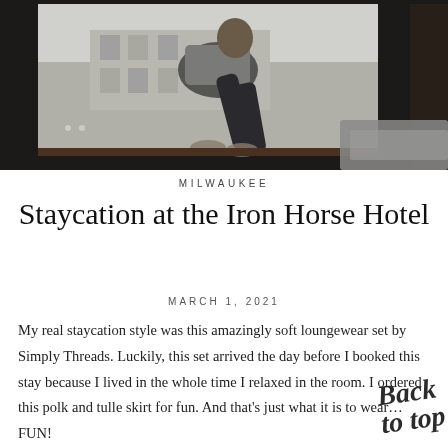[Figure (photo): A person wearing dark loungewear sitting on a window ledge, viewed from behind, looking out through large windows at an urban building exterior. A gray textile/blanket is visible in the lower right corner.]
MILWAUKEE
Staycation at the Iron Horse Hotel
MARCH 1, 2021
My real staycation style was this amazingly soft loungewear set by Simply Threads. Luckily, this set arrived the day before I booked this stay because I lived in the whole time I relaxed in the room. I ordered this polk and tulle skirt for fun. And that's just what it is to wear… FUN!